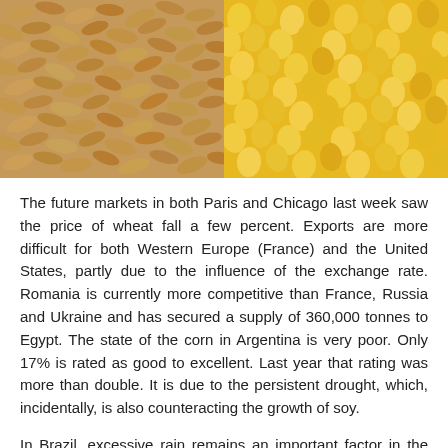[Figure (photo): Close-up photo of grain kernels — wheat on the left half (tan/beige colored) and corn on the right half (yellow/golden colored)]
The future markets in both Paris and Chicago last week saw the price of wheat fall a few percent. Exports are more difficult for both Western Europe (France) and the United States, partly due to the influence of the exchange rate. Romania is currently more competitive than France, Russia and Ukraine and has secured a supply of 360,000 tonnes to Egypt. The state of the corn in Argentina is very poor. Only 17% is rated as good to excellent. Last year that rating was more than double. It is due to the persistent drought, which, incidentally, is also counteracting the growth of soy.
In Brazil, excessive rain remains an important factor in the prospects for corn production. This is because corn planting is planned for after the current soy harvest, which will start late. Winter wheat is doing well in France. 88% is